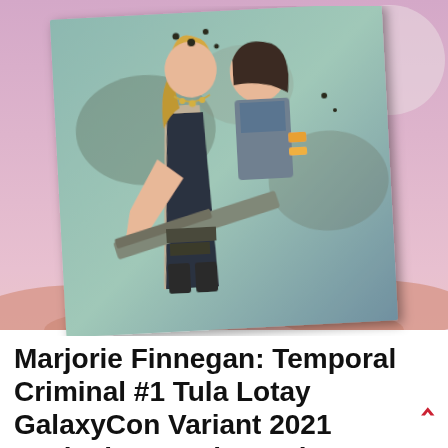[Figure (illustration): Comic book cover art showing two female characters — one with long blonde hair wearing jewelry and a black outfit holding a shotgun, and another with dark hair in a sleeveless top with orange arm bands. Desert/sci-fi background with muted teal and purple tones. The cover art is displayed as a slightly tilted card against a pink-purple desert landscape background.]
Marjorie Finnegan: Temporal Criminal #1 Tula Lotay GalaxyCon Variant 2021 ^ Exclusive Comic Book